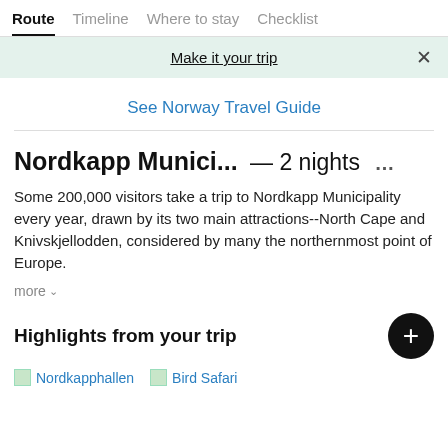Route | Timeline | Where to stay | Checklist
Make it your trip
See Norway Travel Guide
Nordkapp Munici... — 2 nights ···
Some 200,000 visitors take a trip to Nordkapp Municipality every year, drawn by its two main attractions--North Cape and Knivskjellodden, considered by many the northernmost point of Europe.
more
Highlights from your trip
Nordkapphallen
Bird Safari